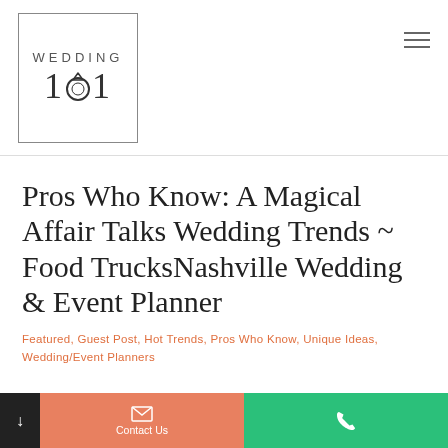[Figure (logo): Wedding 101 logo with ring symbol inside a square border]
Pros Who Know: A Magical Affair Talks Wedding Trends ~ Food TrucksNashville Wedding & Event Planner
Featured, Guest Post, Hot Trends, Pros Who Know, Unique Ideas, Wedding/Event Planners
Contact Us